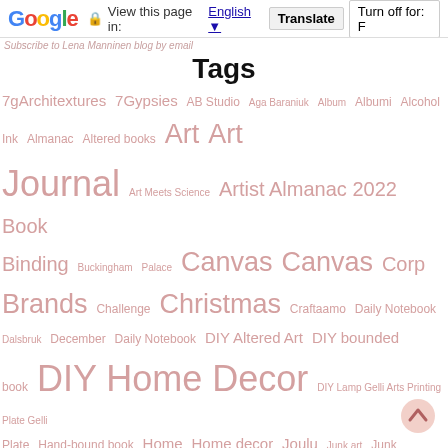Google Translate bar: View this page in: English | Translate | Turn off for: F
Subscribe to Lena Manninen blog by email
Tags
7gArchitextures 7Gypsies AB Studio Aga Baraniuk Album Albumi Alcohol Ink Almanac Altered books Art Art Journal Art Meets Science Artist Almanac 2022 Book Binding Buckingham Palace Canvas Canvas Corp Brands Challenge Christmas Craftaamo Daily Notebook Dalsbruk December Daily Notebook DIY Altered Art DIY bounded book DIY Home Decor DIY Lamp Gelli Arts Printing Plate Gelli Plate Hand-bound book Home Home decor Joulu Junk art Junk Journal Junk style Kemionsaari Kensington Palace Kimitoon Kirjansidontaa Kolmoset Koti Kurssit Kutominen Kädentaidot Käsinsidottu Laivat Työ Lamppuja Lamps Leipominen Leipa Lifestyle Lontoo Low Carb Luova Joulukalentori Makramee Matkustaminen Mini albums Minialbum Minialbumi Mixed Media Narnan paperi &Helmi Notebook Notting Hill Näyttely Old books Painting Papergarden Photography recycling Relics & Artifacts Sisustaminen Stampington Company Steampunk Sukupuri